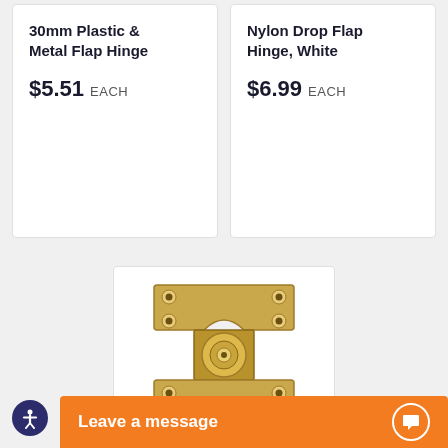30mm Plastic & Metal Flap Hinge
$5.51 EACH
Nylon Drop Flap Hinge, White
$6.99 EACH
[Figure (photo): Gold/brass colored drop flap hinge hardware component, viewed from front, showing mounting plates and pivot mechanism]
Leave a message